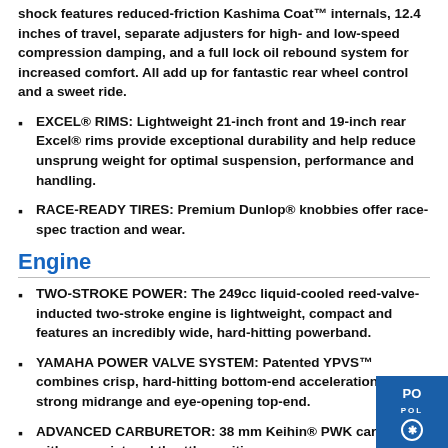shock features reduced-friction Kashima Coat™ internals, 12.4 inches of travel, separate adjusters for high- and low-speed compression damping, and a full lock oil rebound system for increased comfort. All add up for fantastic rear wheel control and a sweet ride.
EXCEL® RIMS: Lightweight 21-inch front and 19-inch rear Excel® rims provide exceptional durability and help reduce unsprung weight for optimal suspension, performance and handling.
RACE-READY TIRES: Premium Dunlop® knobbies offer race-spec traction and wear.
Engine
TWO-STROKE POWER: The 249cc liquid-cooled reed-valve-inducted two-stroke engine is lightweight, compact and features an incredibly wide, hard-hitting powerband.
YAMAHA POWER VALVE SYSTEM: Patented YPVS™ combines crisp, hard-hitting bottom-end acceleration with strong midrange and eye-opening top-end.
ADVANCED CARBURETOR: 38 mm Keihin® PWK carburetor with power jet and throttle position sensor...